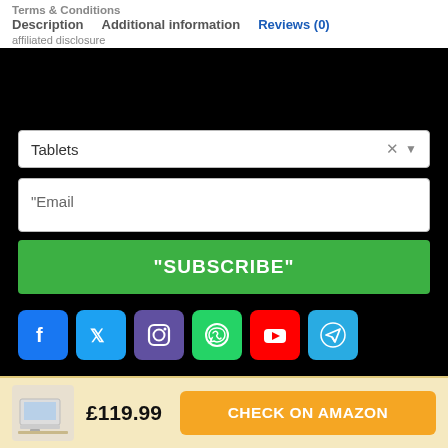Terms & Conditions   Description   Additional information   Reviews (0)   affiliated disclosure
[Figure (screenshot): Black section with newsletter signup widget: Tablets category dropdown, Email input field, SUBSCRIBE button in green, social media icons (Facebook, Twitter, Instagram, WhatsApp, YouTube, Telegram)]
"Email
"SUBSCRIBE"
[Figure (infographic): Social media icons row: Facebook (blue), Twitter (light blue), Instagram (purple-blue), WhatsApp (green), YouTube (red), Telegram (blue)]
£119.99
CHECK ON AMAZON